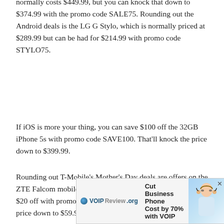normally costs $449.99, but you can knock that down to $374.99 with the promo code SALE75. Rounding out the Android deals is the LG G Stylo, which is normally priced at $289.99 but can be had for $214.99 with promo code STYLO75.
If iOS is more your thing, you can save $100 off the 32GB iPhone 5s with promo code SAVE100. That'll knock the price down to $399.99.
Rounding out T-Mobile's Mother's Day deals are offers on the ZTE Falcom mobile hotspot. The ZTE Falcon is available for $20 off with promo code HOTDEAL, which will knock its price down to $59.99.
There are some decent deals to be had in this sale. While the Galaxy Note 5 and V10 may have both been upstaged recently by newer flagships, they're still high-end Android smartphones that should serve most folks just fine for a long time to [ad] th notable
[Figure (other): VOIPReview.org advertisement banner: 'Cut Business Phone Cost by 70% with VOIP' with a photo of a woman wearing glasses and a headset, with an X close button.]